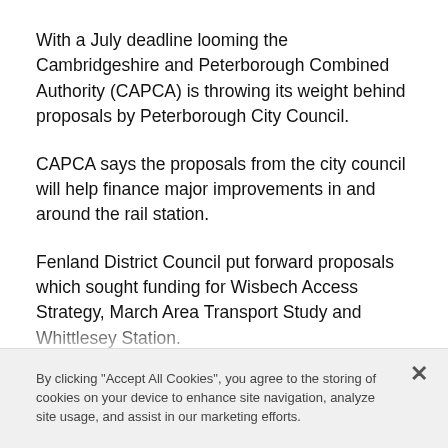With a July deadline looming the Cambridgeshire and Peterborough Combined Authority (CAPCA) is throwing its weight behind proposals by Peterborough City Council.
CAPCA says the proposals from the city council will help finance major improvements in and around the rail station.
Fenland District Council put forward proposals which sought funding for Wisbech Access Strategy, March Area Transport Study and Whittlesey Station.
CAPCA wrote to all its constituent councils in March asking for transport bids for the Government Levelling
By clicking "Accept All Cookies", you agree to the storing of cookies on your device to enhance site navigation, analyze site usage, and assist in our marketing efforts.